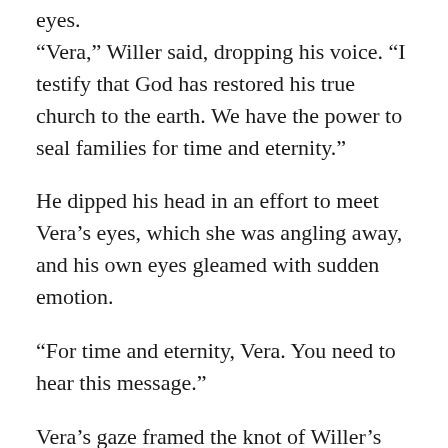eyes.
“Vera,” Willer said, dropping his voice. “I testify that God has restored his true church to the earth. We have the power to seal families for time and eternity.”
He dipped his head in an effort to meet Vera’s eyes, which she was angling away, and his own eyes gleamed with sudden emotion.
“For time and eternity, Vera. You need to hear this message.”
Vera’s gaze framed the knot of Willer’s tie. Her head moved on her neck like an ostrich’s, bobbing slightly.